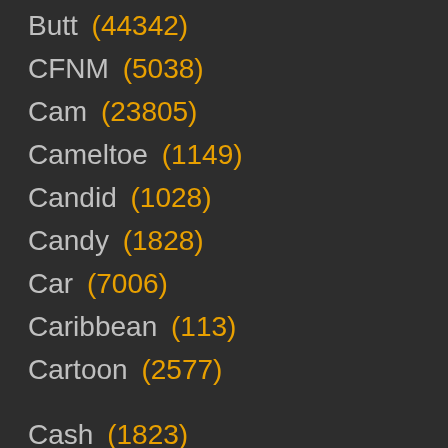Butt (44342)
CFNM (5038)
Cam (23805)
Cameltoe (1149)
Candid (1028)
Candy (1828)
Car (7006)
Caribbean (113)
Cartoon (2577)
Cash (1823)
Casting (13645)
Caught (7150)
Celebrity (5247)
Changing Room (3935)
Cheating (10165)